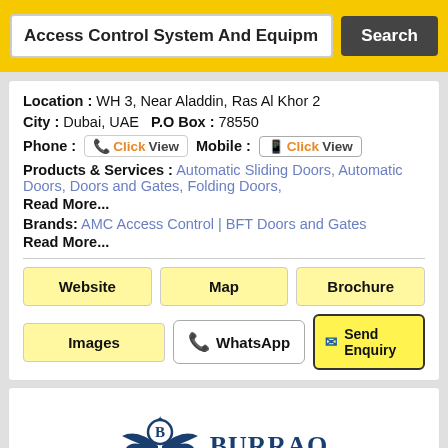Access Control System And Equipm | Search
Location : WH 3, Near Aladdin, Ras Al Khor 2
City : Dubai, UAE  P.O Box : 78550
Phone : ClickView  Mobile : ClickView
Products & Services : Automatic Sliding Doors, Automatic Doors, Doors and Gates, Folding Doors, Read More...
Brands: AMC Access Control | BFT Doors and Gates Read More...
Website | Map | Brochure
Images | WhatsApp | Send Enquiry
[Figure (logo): Burraq Integrated Solutions logo with stylized bird/wings and letter B emblem in dark navy blue, company name in serif font]